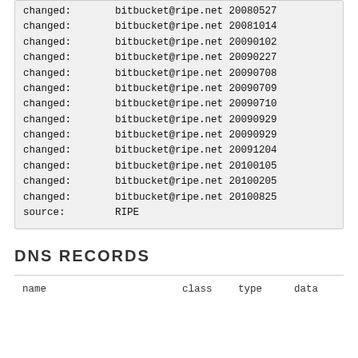changed:            bitbucket@ripe.net 20080527
changed:            bitbucket@ripe.net 20081014
changed:            bitbucket@ripe.net 20090102
changed:            bitbucket@ripe.net 20090227
changed:            bitbucket@ripe.net 20090708
changed:            bitbucket@ripe.net 20090709
changed:            bitbucket@ripe.net 20090710
changed:            bitbucket@ripe.net 20090929
changed:            bitbucket@ripe.net 20090929
changed:            bitbucket@ripe.net 20091204
changed:            bitbucket@ripe.net 20100105
changed:            bitbucket@ripe.net 20100205
changed:            bitbucket@ripe.net 20100825
source:             RIPE
DNS RECORDS
| name | class | type | data |
| --- | --- | --- | --- |